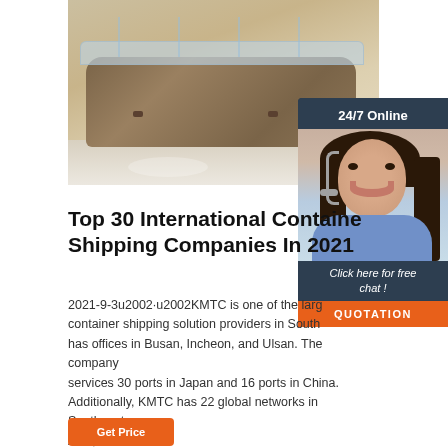[Figure (photo): Product photo of wooden display counter/showcase with glass top panels. A chat widget overlay shows a customer service agent with headset, '24/7 Online' header, 'Click here for free chat!' text, and 'QUOTATION' orange button.]
Top 30 International Container Shipping Companies In 2021
2021-9-3u2002·u2002KMTC is one of the largest container shipping solution providers in South ... has offices in Busan, Incheon, and Ulsan. The company services 30 ports in Japan and 16 ports in China. Additionally, KMTC has 22 global networks in Southeast Asia, …